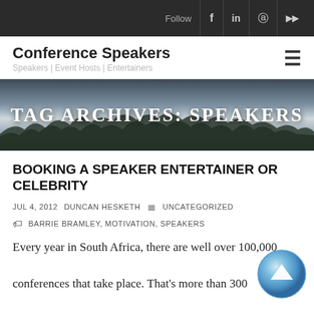Follow | f | in | pinterest | YouTube
Conference Speakers | Speakers | Event Hosts | Entertainers
[Figure (photo): Tag Archives banner with misty forest background]
TAG ARCHIVES: SPEAKERS
BOOKING A SPEAKER ENTERTAINER OR CELEBRITY
JUL 4, 2012   DUNCAN HESKETH   UNCATEGORIZED
BARRIE BRAMLEY, MOTIVATION, SPEAKERS
Every year in South Africa, there are well over 100,000 conferences that take place. That's more than 300